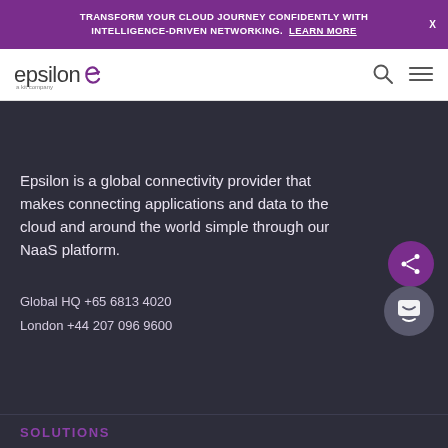TRANSFORM YOUR CLOUD JOURNEY CONFIDENTLY WITH INTELLIGENCE-DRIVEN NETWORKING. LEARN MORE
[Figure (logo): Epsilon logo - 'epsilon' text with stylized 'e' swirl icon, subtitle 'a kit company']
Epsilon is a global connectivity provider that makes connecting applications and data to the cloud and around the world simple through our NaaS platform.
Global HQ +65 6813 4020
London +44 207 096 9600
SOLUTIONS